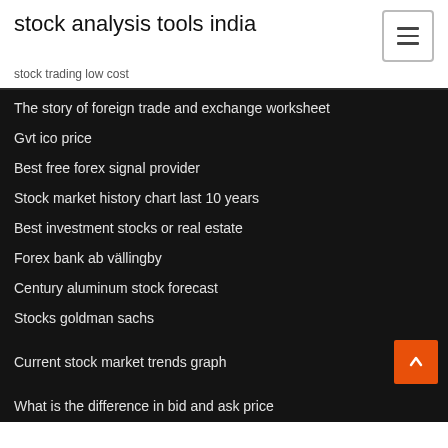stock analysis tools india
stock trading low cost
The story of foreign trade and exchange worksheet
Gvt ico price
Best free forex signal provider
Stock market history chart last 10 years
Best investment stocks or real estate
Forex bank ab vällingby
Century aluminum stock forecast
Stocks goldman sachs
Current stock market trends graph
What is the difference in bid and ask price